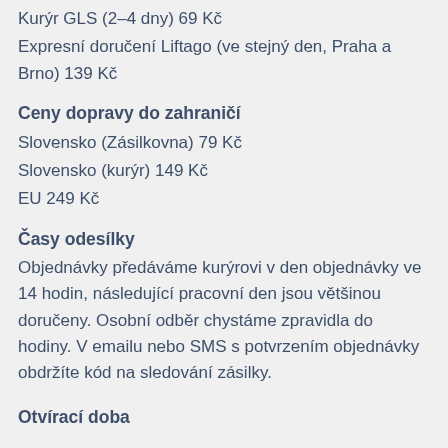Kurýr GLS (2–4 dny) 69 Kč
Expresní doručení Liftago (ve stejný den, Praha a Brno) 139 Kč
Ceny dopravy do zahraničí
Slovensko (Zásilkovna) 79 Kč
Slovensko (kurýr) 149 Kč
EU 249 Kč
Časy odesílky
Objednávky předáváme kurýrovi v den objednávky ve 14 hodin, následující pracovní den jsou většinou doručeny. Osobní odběr chystáme zpravidla do hodiny. V emailu nebo SMS s potvrzením objednávky obdržíte kód na sledování zásilky.
Otvírací doba